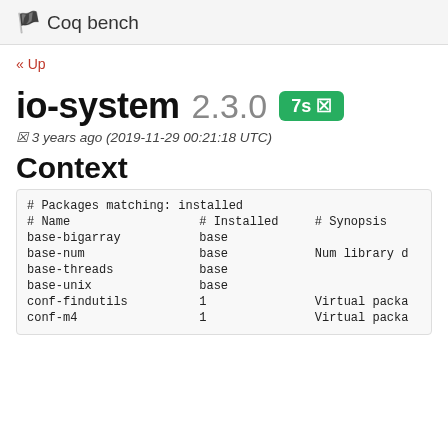🏁 Coq bench
« Up
io-system 2.3.0  7s 🏁
🏁 3 years ago (2019-11-29 00:21:18 UTC)
Context
| # Name | # Installed | # Synopsis |
| --- | --- | --- |
| # Packages matching: installed |  |  |
| base-bigarray | base |  |
| base-num | base | Num library d |
| base-threads | base |  |
| base-unix | base |  |
| conf-findutils | 1 | Virtual packa |
| conf-m4 | 1 | Virtual packa |